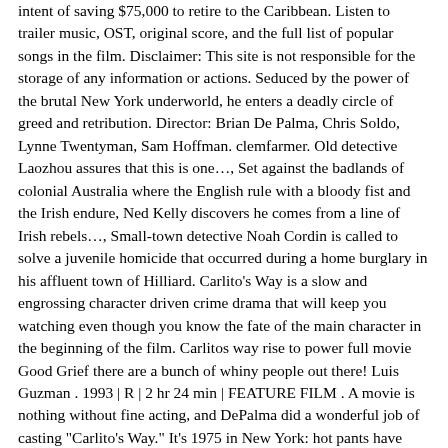intent of saving $75,000 to retire to the Caribbean. Listen to trailer music, OST, original score, and the full list of popular songs in the film. Disclaimer: This site is not responsible for the storage of any information or actions. Seduced by the power of the brutal New York underworld, he enters a deadly circle of greed and retribution. Director: Brian De Palma, Chris Soldo, Lynne Twentyman, Sam Hoffman. clemfarmer. Old detective Laozhou assures that this is one…, Set against the badlands of colonial Australia where the English rule with a bloody fist and the Irish endure, Ned Kelly discovers he comes from a line of Irish rebels…, Small-town detective Noah Cordin is called to solve a juvenile homicide that occurred during a home burglary in his affluent town of Hilliard. Carlito's Way is a slow and engrossing character driven crime drama that will keep you watching even though you know the fate of the main character in the beginning of the film. Carlitos way rise to power full movie Good Grief there are a bunch of whiny people out there! Luis Guzman . 1993 | R | 2 hr 24 min | FEATURE FILM . A movie is nothing without fine acting, and DePalma did a wonderful job of casting "Carlito's Way." It's 1975 in New York: hot pants have replaced mini-skirts, disco dancers have forsaken pot for cocaine, the O'Jays are on the soundtrack and crime is a going business. AUDIO: English | SUBTITLES: English. A Puerto-Rican ex-con, just released from prison, pledges to stay away from drugs and violence despite the pressure around him and lead on to a better life outside of NYC. Find all 27 songs in